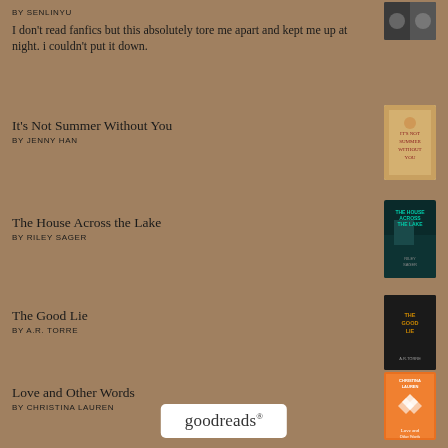BY SENLINYU
I don't read fanfics but this absolutely tore me apart and kept me up at night. i couldn't put it down.
It's Not Summer Without You
BY JENNY HAN
[Figure (photo): Book cover of It's Not Summer Without You by Jenny Han - colorful summer themed cover]
The House Across the Lake
BY RILEY SAGER
[Figure (photo): Book cover of The House Across the Lake by Riley Sager - dark teal water themed cover]
The Good Lie
BY A.R. TORRE
[Figure (photo): Book cover of The Good Lie by A.R. Torre - dark moody cover]
Love and Other Words
BY CHRISTINA LAUREN
[Figure (photo): Book cover of Love and Other Words by Christina Lauren - orange cover with illustrated hearts]
[Figure (logo): Goodreads logo in white rounded rectangle box]